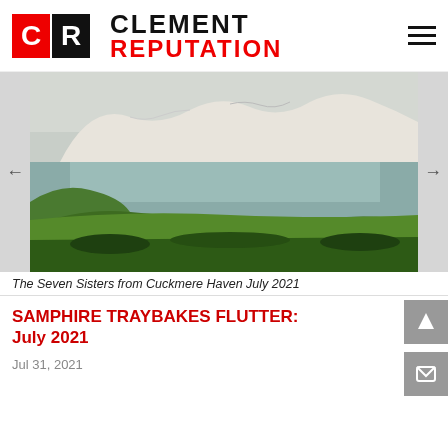CLEMENT REPUTATION
[Figure (photo): Coastal landscape photograph showing the Seven Sisters white chalk cliffs viewed from Cuckmere Haven, with green grass in the foreground and a calm sea, July 2021]
The Seven Sisters from Cuckmere Haven July 2021
SAMPHIRE TRAYBAKES FLUTTER: July 2021
Jul 31, 2021